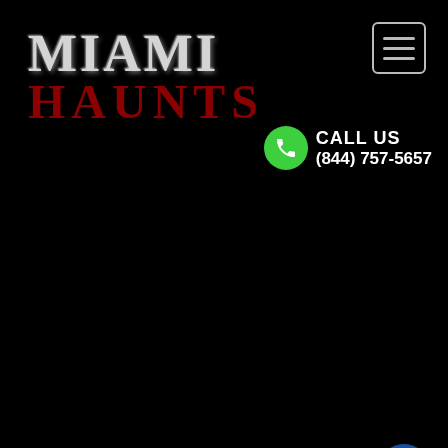MIAMI HAUNTS
CALL US (844) 757-5657
[Figure (screenshot): Mobile website header for Miami Haunts with logo, call button, hamburger menu, and social media icons (Facebook, Twitter, YouTube, Instagram, Pinterest, TikTok, Snapchat) on a black background]